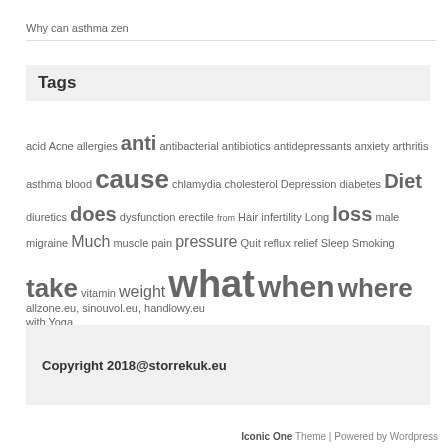Why can asthma zen
Tags
acid Acne allergies anti antibacterial antibiotics antidepressants anxiety arthritis asthma blood cause chlamydia cholesterol Depression diabetes Diet diuretics does dysfunction erectile from Hair infertility Long loss male migraine Much muscle pain pressure Quit reflux relief Sleep Smoking take vitamin weight what when where with Yoga
allzone.eu, sinouvol.eu, handlowy.eu
Copyright 2018@storrekuk.eu
Iconic One Theme | Powered by Wordpress